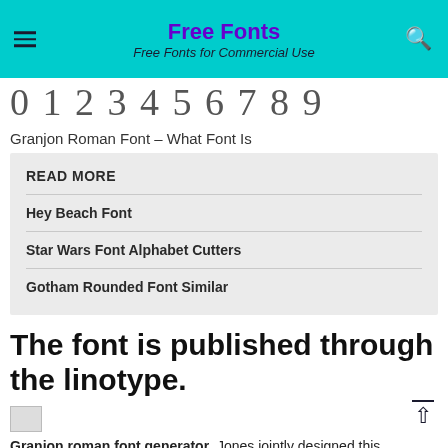Free Fonts
Free Fonts for Commercial Use
0 1 2 3 4 5 6 7 8 9
Granjon Roman Font – What Font Is
READ MORE
Hey Beach Font
Star Wars Font Alphabet Cutters
Gotham Rounded Font Similar
The font is published through the linotype.
[Figure (photo): Broken/loading image placeholder]
Granjon roman font generator. Jones jointly designed this